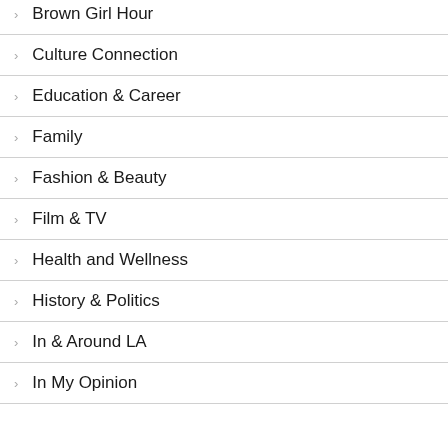Brown Girl Hour
Culture Connection
Education & Career
Family
Fashion & Beauty
Film & TV
Health and Wellness
History & Politics
In & Around LA
In My Opinion